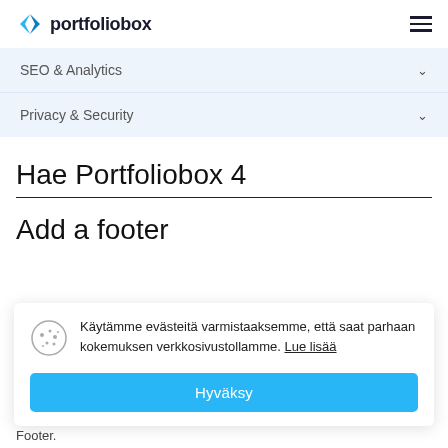portfoliobox
SEO & Analytics
Privacy & Security
Hae Portfoliobox 4
Add a footer
Käytämme evästeitä varmistaaksemme, että saat parhaan kokemuksen verkkosivustollamme. Lue lisää
Hyväksy
Footer.